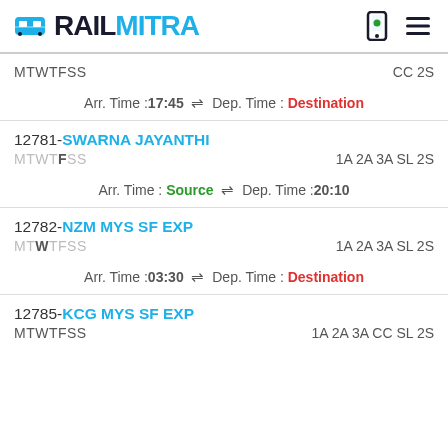RAILMITRA
MTWTFSS | CC 2S | Arr. Time :17:45 ⇌ Dep. Time :Destination
12781-SWARNA JAYANTHI | MTWTFSS | 1A 2A 3A SL 2S | Arr. Time :Source ⇌ Dep. Time :20:10
12782-NZM MYS SF EXP | MTWTFSS | 1A 2A 3A SL 2S | Arr. Time :03:30 ⇌ Dep. Time :Destination
12785-KCG MYS SF EXP | MTWTFSS | 1A 2A 3A CC SL 2S